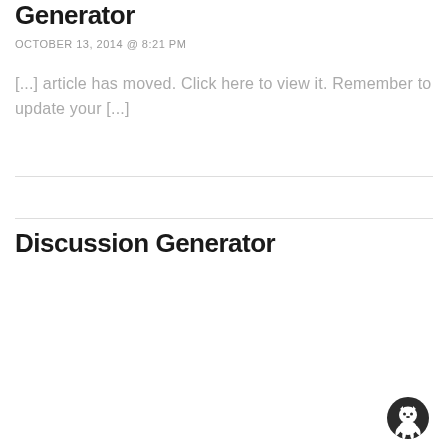Generator
OCTOBER 13, 2014 @ 8:21 PM
[...] article has moved. Click here to view it. Remember to update your [...]
Discussion Generator
[Figure (logo): GitHub logo/icon, circular cat silhouette in dark gray]